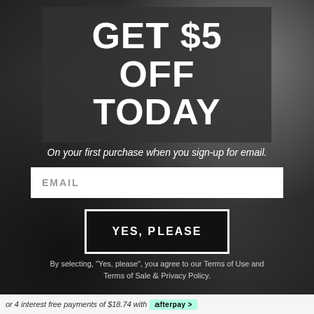[Figure (photo): Black and white background photo showing a masquerade mask and chain on the ground, with blurred background of pillars and wood logs]
GET $5 OFF TODAY
On your first purchase when you sign-up for email.
EMAIL
YES, PLEASE
By selecting, "Yes, please", you agree to our Terms of Use and Terms of Sale & Privacy Policy.
or 4 interest free payments of $18.74 with Afterpay